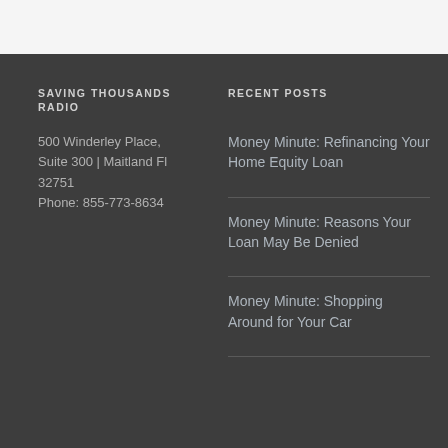SAVING THOUSANDS RADIO
500 Winderley Place, Suite 300 | Maitland Fl 32751
Phone: 855-773-8634
RECENT POSTS
Money Minute: Refinancing Your Home Equity Loan
Money Minute: Reasons Your Loan May Be Denied
Money Minute: Shopping Around for Your Car